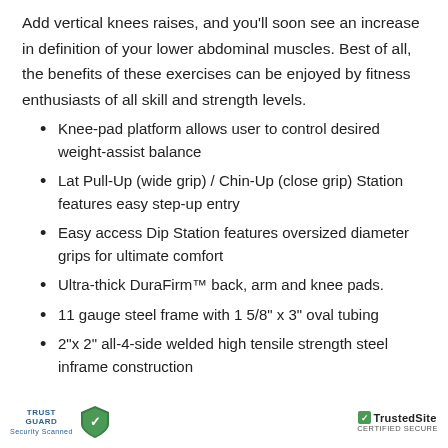Add vertical knees raises, and you'll soon see an increase in definition of your lower abdominal muscles. Best of all, the benefits of these exercises can be enjoyed by fitness enthusiasts of all skill and strength levels.
Knee-pad platform allows user to control desired weight-assist balance
Lat Pull-Up (wide grip) / Chin-Up (close grip) Station features easy step-up entry
Easy access Dip Station features oversized diameter grips for ultimate comfort
Ultra-thick DuraFirm™ back, arm and knee pads.
11 gauge steel frame with 1 5/8" x 3" oval tubing
2"x 2" all-4-side welded high tensile strength steel inframe construction
Trust Guard Security Scanned | TrustedSite CERTIFIED SECURE